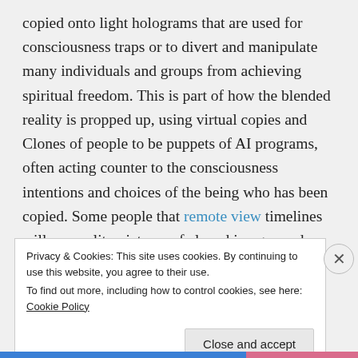copied onto light holograms that are used for consciousness traps or to divert and manipulate many individuals and groups from achieving spiritual freedom. This is part of how the blended reality is propped up, using virtual copies and Clones of people to be puppets of AI programs, often acting counter to the consciousness intentions and choices of the being who has been copied. Some people that remote view timelines will see reality pictures of cloned images and actual
Privacy & Cookies: This site uses cookies. By continuing to use this website, you agree to their use.
To find out more, including how to control cookies, see here: Cookie Policy
Close and accept